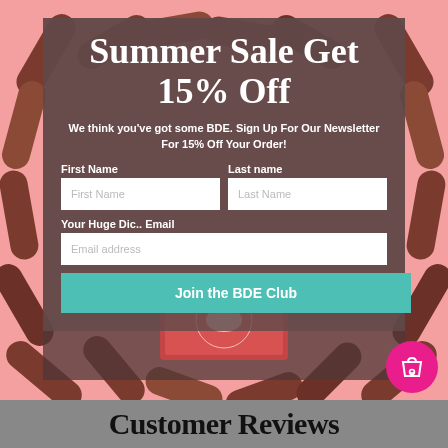[Figure (photo): Background photo of chocolate finger-shaped candies arranged in a heart pattern on a pink background, with a decorative red-patterned gift box in the center]
Summer Sale Get 15% Off
We think you've got some BDE. Sign Up For Our Newsletter For 15% Off Your Order!
First Name
Last name
Your Huge Dic.. Email
Join the BDE Club
Customer Reviews